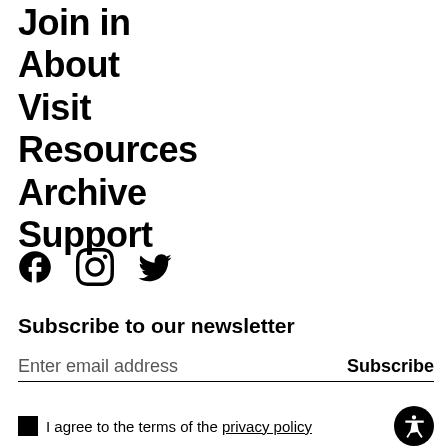Join in
About
Visit
Resources
Archive
Support
[Figure (other): Social media icons: Facebook, Instagram, Twitter]
Subscribe to our newsletter
Enter email address
Subscribe
I agree to the terms of the privacy policy